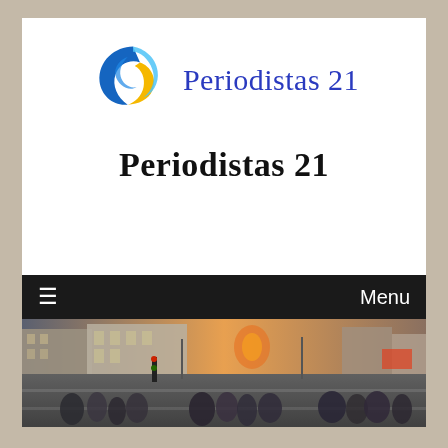[Figure (logo): Periodistas 21 logo: a stylized triangular swirl shape in blue and gold/yellow, with text 'Periodistas 21' in blue serif font to the right]
Periodistas 21
[Figure (screenshot): Website navigation bar: dark/black background with hamburger menu icon on left and 'Menu' text on right, followed by a street photo showing a busy urban street scene with crowds of pedestrians, traffic lights, buildings, and warm sunlight]
Menu